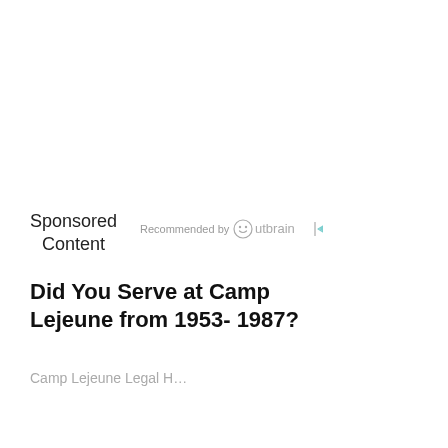Sponsored Content
Recommended by Outbrain
Did You Serve at Camp Lejeune from 1953- 1987?
Camp Lejeune Legal H…